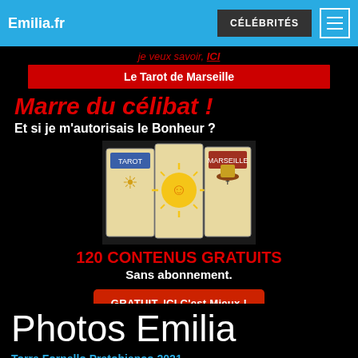Emilia.fr | CÉLÉBRITÉS
je veux savoir, ICI
Le Tarot de Marseille
[Figure (illustration): Advertisement for tarot de Marseille: large red text 'Marre du célibat !' and white text 'Et si je m'autorisais le Bonheur ?' over black background, with tarot card images, red text '120 CONTENUS GRATUITS', white text 'Sans abonnement.', and a red CTA button 'GRATUIT, ICI C'est Mieux !']
Photos Emilia
Torre Fornello Pratobianco 2021
12.46 EUR